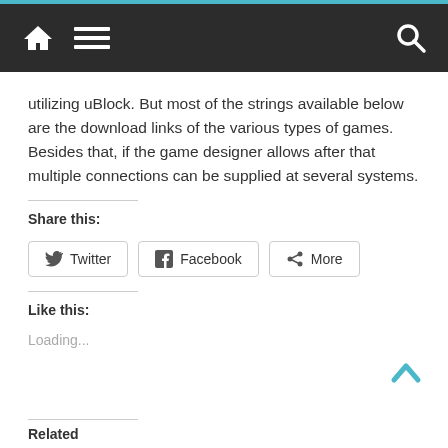Navigation bar with home icon, menu icon, and search icon
utilizing uBlock. But most of the strings available below are the download links of the various types of games. Besides that, if the game designer allows after that multiple connections can be supplied at several systems.
Share this:
Twitter  Facebook  More
Like this:
Loading...
Related